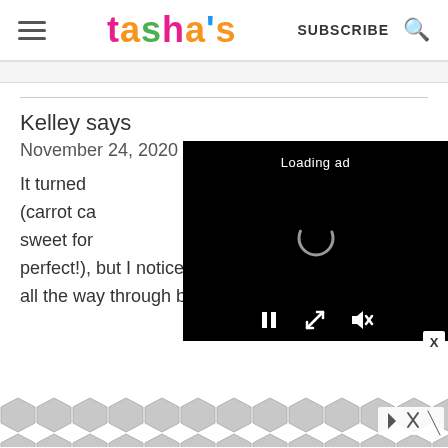tasha's — SUBSCRIBE [search icon]
Kelley says
November 24, 2020 at 9:35 am
It turned (carrot ca sweet for perfect!), but I noticed it baked all the way through by 35 mins
[Figure (screenshot): Video ad overlay with Loading ad text, spinner, pause/expand/mute controls on black background]
[Figure (other): Advertisement banner at bottom with geometric pattern and ad controls]